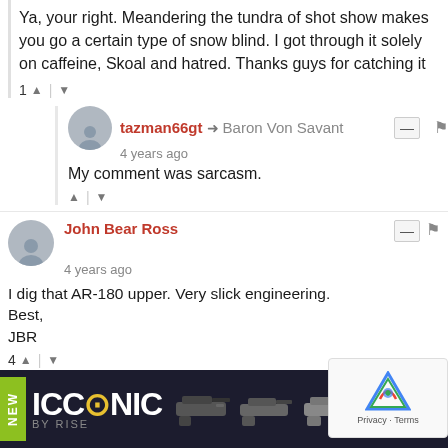Ya, your right. Meandering the tundra of shot show makes you go a certain type of snow blind. I got through it solely on caffeine, Skoal and hatred. Thanks guys for catching it
1 ▲ | ▼
tazman66gt → Baron Von Savant  4 years ago
My comment was sarcasm.
▲ | ▼
John Bear Ross  4 years ago
I dig that AR-180 upper. Very slick engineering.
Best,
JBR
4 ▲ | ▼
Uncle Yar  4 years ago
The 180
[Figure (screenshot): Advertisement banner for ICONIC BY RISE brand with dark background, green NEW tag, white logo text, and firearm accessory images]